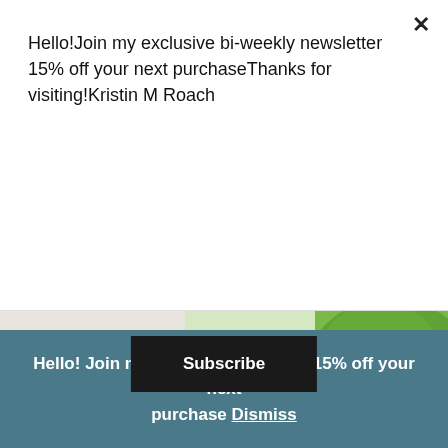Hello!Join my exclusive bi-weekly newsletter 15% off your next purchaseThanks for visiting!Kristin M Roach
Subscribe
[Figure (photo): A large green leafy plant in a white pot near a window, with a teal chair visible to the right and a white brick wall on the left.]
Hello! Join my mailing list and get 15% off your next purchase Dismiss